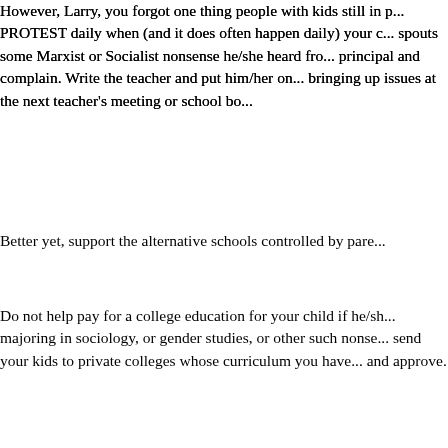However, Larry, you forgot one thing people with kids still in p... PROTEST daily when (and it does often happen daily) your c... spouts some Marxist or Socialist nonsense he/she heard fro... principal and complain. Write the teacher and put him/her on... bringing up issues at the next teacher's meeting or school bo...
Better yet, support the alternative schools controlled by pare...
Do not help pay for a college education for your child if he/sh... majoring in sociology, or gender studies, or other such nonse... send your kids to private colleges whose curriculum you have... and approve.
My other solution would be to send your children to one of th... to college, or perhaps to the national guard. On the other ha... work to raise money for their own education so they could fin... garbage they may have to pay to hear in their classes.
Here's another idea: No matter what belief system you may h... good foundation in it. Make sure they can say with a good ur... means: "In God We Trust." Atheists will have to make sure th... logical thinkers. Socialism is NOT logical if you also teach the... nature.
Finally, if you don't see your children getting an education in...